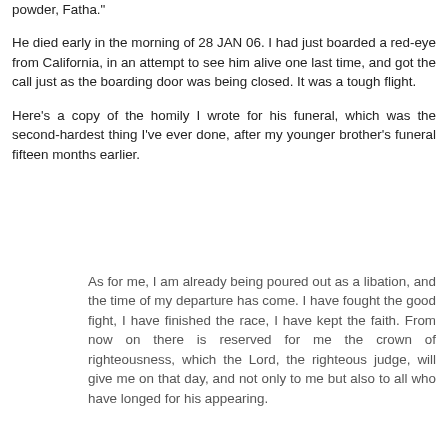powder, Fatha."
He died early in the morning of 28 JAN 06. I had just boarded a red-eye from California, in an attempt to see him alive one last time, and got the call just as the boarding door was being closed. It was a tough flight.
Here's a copy of the homily I wrote for his funeral, which was the second-hardest thing I've ever done, after my younger brother's funeral fifteen months earlier.
As for me, I am already being poured out as a libation, and the time of my departure has come. I have fought the good fight, I have finished the race, I have kept the faith. From now on there is reserved for me the crown of righteousness, which the Lord, the righteous judge, will give me on that day, and not only to me but also to all who have longed for his appearing.